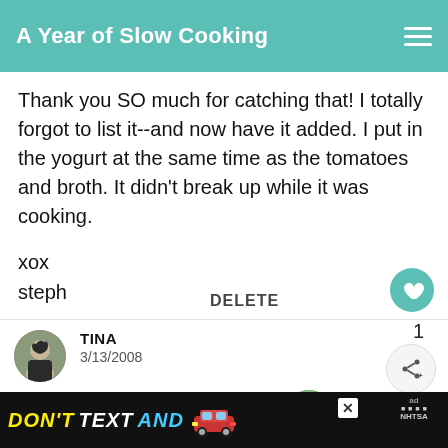A Year of Slow Cooking
Thank you SO much for catching that! I totally forgot to list it--and now have it added. I put in the yogurt at the same time as the tomatoes and broth. It didn't break up while it was cooking.

xox
steph
DELETE
1
WHAT'S NEXT → Vegetarian
TINA
3/13/2008
[Figure (infographic): DON'T TEXT AND [car emoji] ad banner with NHTSA logo and close button]